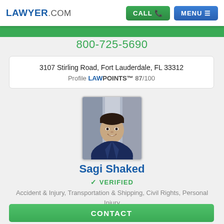LAWYER.COM  CALL  MENU
800-725-5690
3107 Stirling Road, Fort Lauderdale, FL 33312
Profile LAWPOINTS™ 87/100
[Figure (photo): Professional headshot of attorney Sagi Shaked in a dark suit and tie, smiling]
Sagi Shaked
✓ VERIFIED
Accident & Injury, Transportation & Shipping, Civil Rights, Personal Injury
FREE CONSULTATION
CONTACT